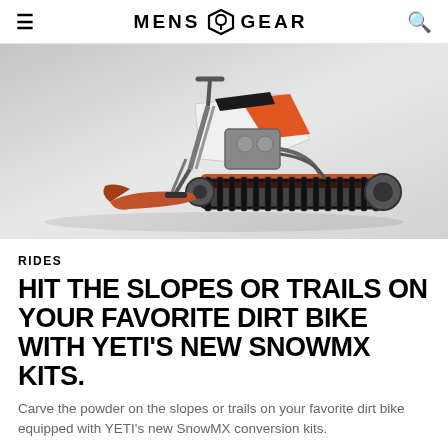MENS GEAR
[Figure (photo): A dirt bike converted with snow tracks and a front ski (SnowMX conversion kit), photographed on a white/grey background showing the orange and white bike with rubber tracks replacing the rear wheel and a ski replacing the front wheel.]
RIDES
HIT THE SLOPES OR TRAILS ON YOUR FAVORITE DIRT BIKE WITH YETI'S NEW SNOWMX KITS.
Carve the powder on the slopes or trails on your favorite dirt bike equipped with YETI's new SnowMX conversion kits.